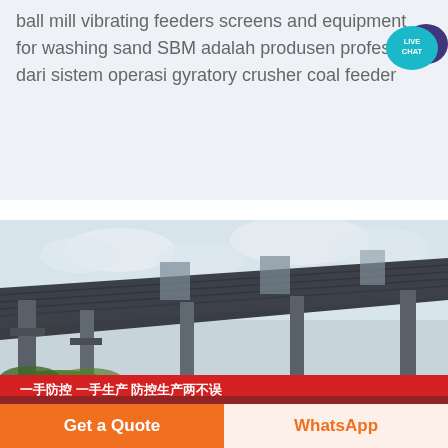ball mill vibrating feeders screens and equipment for washing sand SBM adalah produsen profesional dari sistem operasi gyratory crusher coal feeder
[Figure (other): Live chat speech bubble icon with teal/dark blue color, text: LIVE CHAT]
Voir plus
[Figure (photo): Outdoor photo of an industrial facility with a large dark corrugated metal roof structure supported by steel columns. A red banner with Chinese characters is visible at the bottom reading: 一手防控 一手生产 防控生产两不误]
Get a Quote
WhatsApp